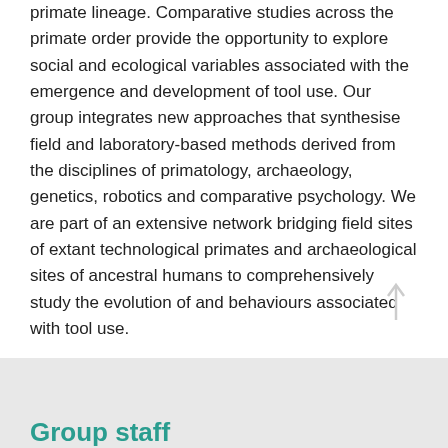primate lineage. Comparative studies across the primate order provide the opportunity to explore social and ecological variables associated with the emergence and development of tool use. Our group integrates new approaches that synthesise field and laboratory-based methods derived from the disciplines of primatology, archaeology, genetics, robotics and comparative psychology.  We are part of an extensive network bridging field sites of extant technological primates and archaeological sites of ancestral humans to comprehensively study the evolution of and behaviours associated with tool use.

This group is led by Dr Lydia V. Luncz, for questions and enquiries please email:
Lydia_Luncz@eva.mpg.de
Group staff